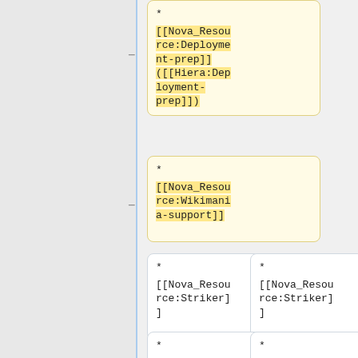[Figure (flowchart): A flowchart/diagram showing wiki resource nodes. Yellow highlighted boxes indicate: [[Nova_Resource:Deployment-prep]] ([[Hiera:Deployment-prep]]) and [[Nova_Resource:Wikimania-support]]. White boxes in two columns show [[Nova_Resource:Striker]] (x2) and [[Nova_Resource:Tools]] (x2) with a partially visible box at the bottom right.]